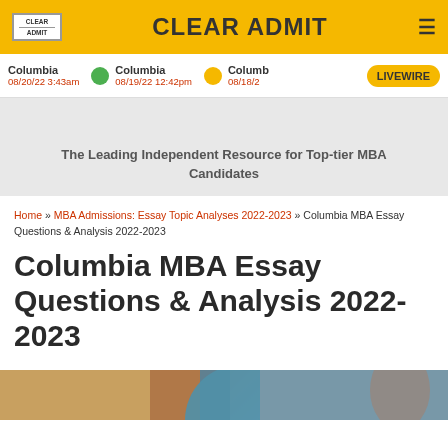CLEAR ADMIT
Columbia 08/20/22 3:43am | Columbia 08/19/22 12:42pm | Columb 08/18/2 | LIVEWIRE
The Leading Independent Resource for Top-tier MBA Candidates
Home » MBA Admissions: Essay Topic Analyses 2022-2023 » Columbia MBA Essay Questions & Analysis 2022-2023
Columbia MBA Essay Questions & Analysis 2022-2023
[Figure (photo): Bottom image strip with warm tones, partial photo visible]